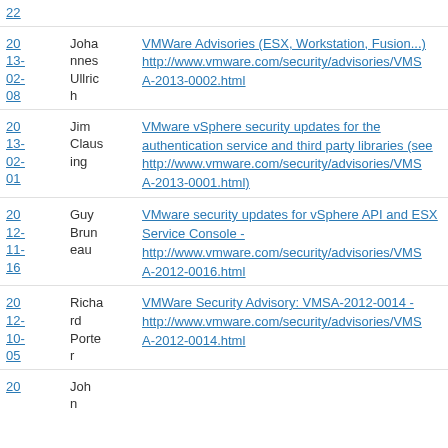| Date | Author | Link |
| --- | --- | --- |
| 20
13-
02-
08 | Johannes Ullrich | VMWare Advisories (ESX, Workstation, Fusion...) http://www.vmware.com/security/advisories/VMSA-2013-0002.html |
| 20
13-
02-
01 | Jim Clausing | VMware vSphere security updates for the authentication service and third party libraries (see http://www.vmware.com/security/advisories/VMSA-2013-0001.html) |
| 20
12-
11-
16 | Guy Bruneau | VMware security updates for vSphere API and ESX Service Console - http://www.vmware.com/security/advisories/VMSA-2012-0016.html |
| 20
12-
10-
05 | Richard Porter | VMWare Security Advisory: VMSA-2012-0014 - http://www.vmware.com/security/advisories/VMSA-2012-0014.html |